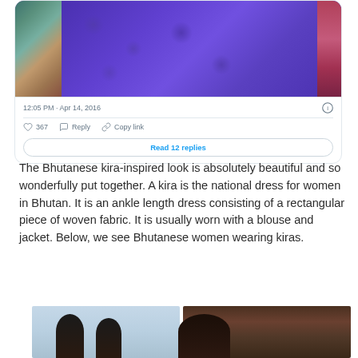[Figure (screenshot): Tweet card showing a photo of a person wearing a blue patterned kira dress with fabric bolts in background, with timestamp 12:05 PM · Apr 14, 2016, like count 367, Reply, Copy link actions, and Read 12 replies button]
The Bhutanese kira-inspired look is absolutely beautiful and so wonderfully put together. A kira is the national dress for women in Bhutan. It is an ankle length dress consisting of a rectangular piece of woven fabric. It is usually worn with a blouse and jacket. Below, we see Bhutanese women wearing kiras.
[Figure (photo): Two photos of Bhutanese women wearing kiras, partially visible at bottom of page]